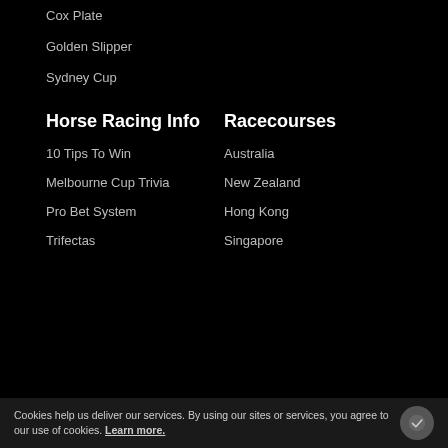Cox Plate
Golden Slipper
Sydney Cup
Horse Racing Info
Racecourses
10 Tips To Win
Australia
Melbourne Cup Trivia
New Zealand
Pro Bet System
Hong Kong
Trifectas
Singapore
Cookies help us deliver our services. By using our sites or services, you agree to our use of cookies. Learn more.